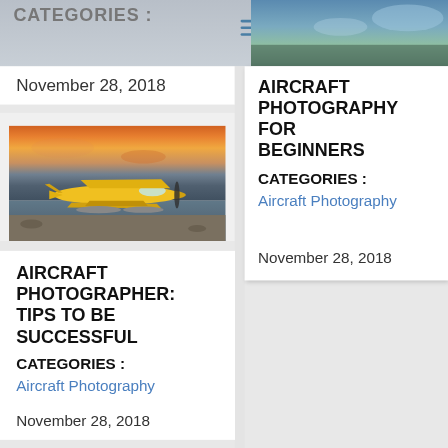CATEGORIES :
[Figure (photo): Blurred landscape/sky photo in top right banner area]
November 28, 2018
[Figure (photo): Yellow floatplane/seaplane parked on gravel near water at sunset with colorful sky]
AIRCRAFT PHOTOGRAPHER: TIPS TO BE SUCCESSFUL
CATEGORIES :
Aircraft Photography
November 28, 2018
AIRCRAFT PHOTOGRAPHY FOR BEGINNERS
CATEGORIES :
Aircraft Photography
November 28, 2018